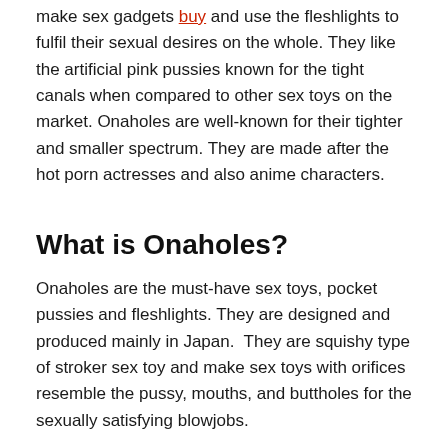make sex gadgets buy and use the fleshlights to fulfil their sexual desires on the whole. They like the artificial pink pussies known for the tight canals when compared to other sex toys on the market. Onaholes are well-known for their tighter and smaller spectrum. They are made after the hot porn actresses and also anime characters.
What is Onaholes?
Onaholes are the must-have sex toys, pocket pussies and fleshlights. They are designed and produced mainly in Japan.  They are squishy type of stroker sex toy and make sex toys with orifices resemble the pussy, mouths, and buttholes for the sexually satisfying blowjobs.
Some Onaholes are available with either pussy or mouth. However many Onaholes often brands nowadays are